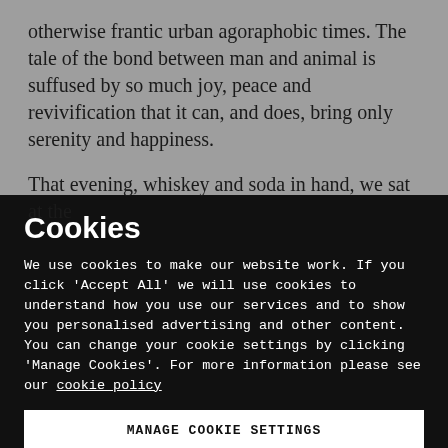otherwise frantic urban agoraphobic times. The tale of the bond between man and animal is suffused by so much joy, peace and revivification that it can, and does, bring only serenity and happiness.
That evening, whiskey and soda in hand, we sat at the
Cookies
We use cookies to make our website work. If you click 'Accept All' we will use cookies to understand how you use our services and to show you personalised advertising and other content. You can change your cookie settings by clicking 'Manage Cookies'. For more information please see our cookie policy
MANAGE COOKIE SETTINGS
ACCEPT ALL COOKIES